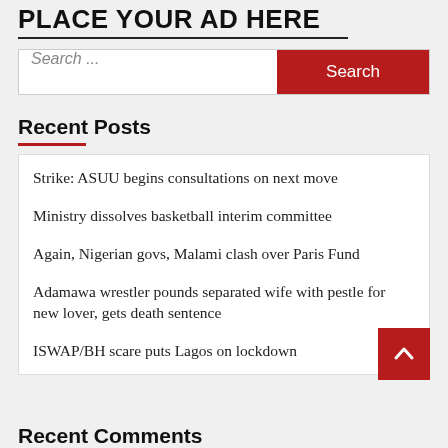PLACE YOUR AD HERE
Search ...
Recent Posts
Strike: ASUU begins consultations on next move
Ministry dissolves basketball interim committee
Again, Nigerian govs, Malami clash over Paris Fund
Adamawa wrestler pounds separated wife with pestle for new lover, gets death sentence
ISWAP/BH scare puts Lagos on lockdown
Recent Comments